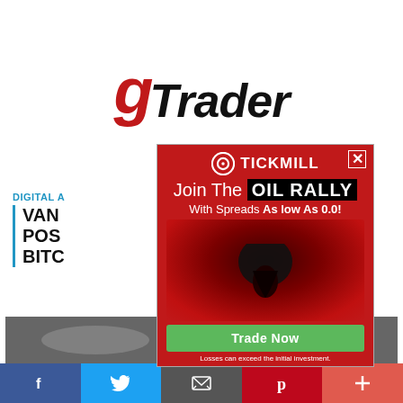[Figure (logo): gTrader website logo with red G and black italic TRADER text]
[Figure (illustration): Tickmill advertisement overlay: Join The OIL RALLY, With Spreads As low As 0.0!, oil barrel image, Trade Now green button, disclaimer text]
DIGITAL A...
VAN... POS... BITC...
The US S... reschedu... in exchange-traded fund proposed by investment giant VanEck.
[Figure (photo): Partial photo at bottom of page]
Facebook | Twitter | Email | Pinterest | Plus